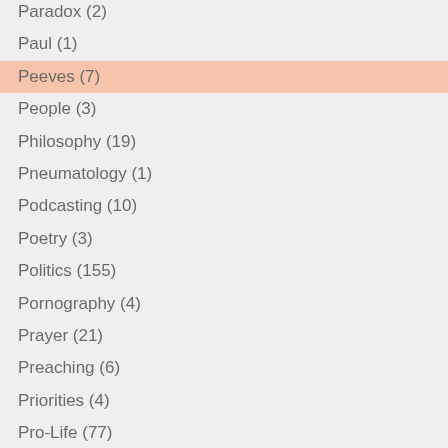Paradox (2)
Paul (1)
Peeves (7)
People (3)
Philosophy (19)
Pneumatology (1)
Podcasting (10)
Poetry (3)
Politics (155)
Pornography (4)
Prayer (21)
Preaching (6)
Priorities (4)
Pro-Life (77)
Productivity (9)
Progressivism (2)
Public Policy (46)
Quote of the Day (17)